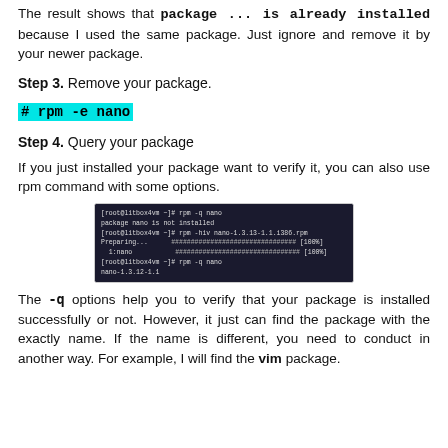The result shows that package ... is already installed because I used the same package. Just ignore and remove it by your newer package.
Step 3. Remove your package.
# rpm -e nano
Step 4. Query your package
If you just installed your package want to verify it, you can also use rpm command with some options.
[Figure (screenshot): Terminal screenshot showing rpm -q nano commands and output including nano-1.3.12-1.1]
The -q options help you to verify that your package is installed successfully or not. However, it just can find the package with the exactly name. If the name is different, you need to conduct in another way. For example, I will find the vim package.